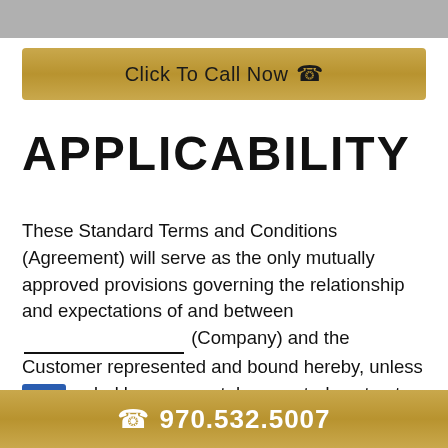[Figure (other): Top gray navigation bar]
[Figure (other): Gold 'Click To Call Now' button with phone icon]
APPLICABILITY
These Standard Terms and Conditions (Agreement) will serve as the only mutually approved provisions governing the relationship and expectations of and between ________________________ (Company) and the Customer represented and bound hereby, unless superseded by a separately executed contract. Further, this Agreement is limited to the service
970.532.5007